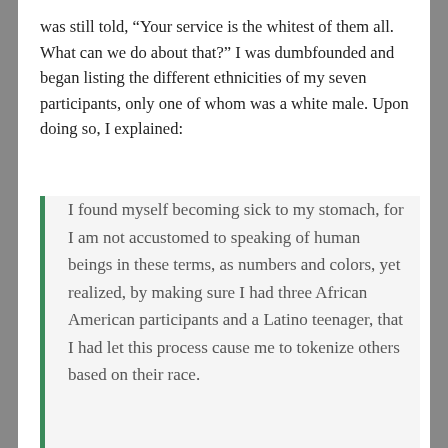was still told, “Your service is the whitest of them all. What can we do about that?” I was dumbfounded and began listing the different ethnicities of my seven participants, only one of whom was a white male. Upon doing so, I explained:
I found myself becoming sick to my stomach, for I am not accustomed to speaking of human beings in these terms, as numbers and colors, yet realized, by making sure I had three African American participants and a Latino teenager, that I had let this process cause me to tokenize others based on their race.